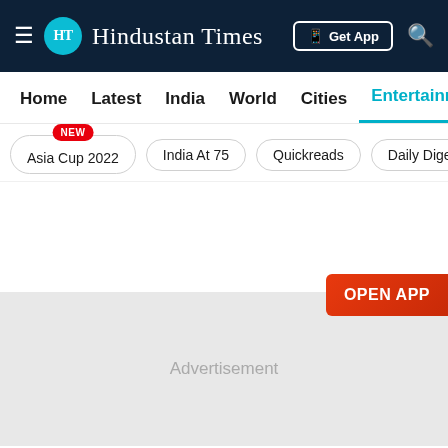Hindustan Times
Home
Latest
India
World
Cities
Entertainment
Asia Cup 2022 NEW
India At 75
Quickreads
Daily Dige
Advertisement
OPEN APP